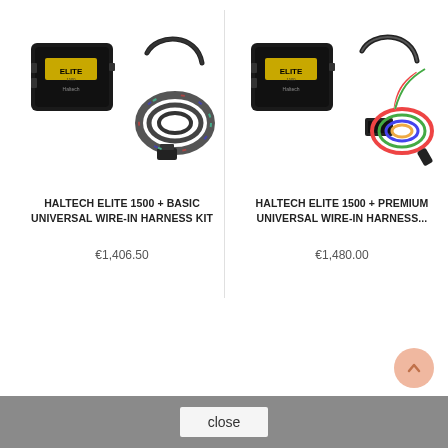[Figure (photo): Haltech Elite 1500 ECU with basic universal wire-in harness kit — black ECU unit and coiled wiring harness]
[Figure (photo): Haltech Elite 1500 ECU with premium universal wire-in harness kit — black ECU unit and premium colored wiring harness with relay box]
HALTECH ELITE 1500 + BASIC UNIVERSAL WIRE-IN HARNESS KIT
HALTECH ELITE 1500 + PREMIUM UNIVERSAL WIRE-IN HARNESS...
€1,406.50
€1,480.00
close